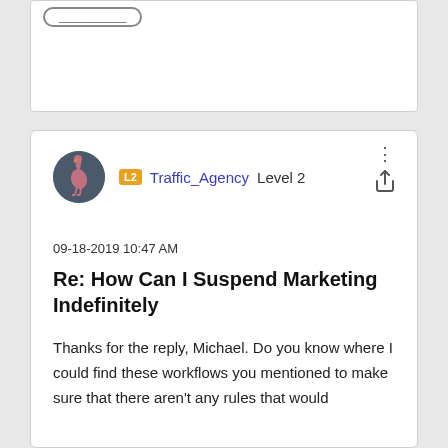[Figure (screenshot): Top portion of a forum post card, partially visible with a button outline at top]
Traffic_Agency Level 2
09-18-2019 10:47 AM
Re: How Can I Suspend Marketing Indefinitely
Thanks for the reply, Michael. Do you know where I could find these workflows you mentioned to make sure that there aren't any rules that would